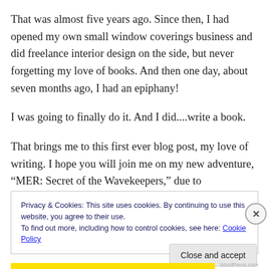That was almost five years ago. Since then, I had opened my own small window coverings business and did freelance interior design on the side, but never forgetting my love of books. And then one day, about seven months ago, I had an epiphany!
I was going to finally do it. And I did....write a book.
That brings me to this first ever blog post, my love of writing. I hope you will join me on my new adventure, “MER: Secret of the Wavekeepers,” due to
Privacy & Cookies: This site uses cookies. By continuing to use this website, you agree to their use.
To find out more, including how to control cookies, see here: Cookie Policy
Close and accept